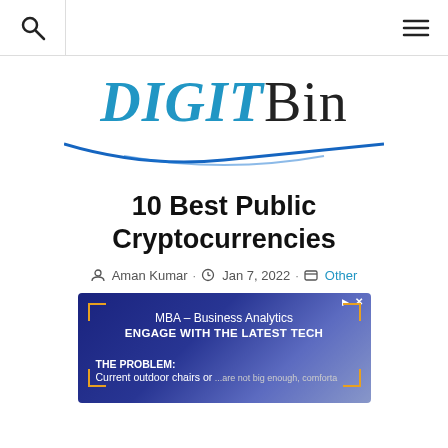Search | DIGITBin | Menu
[Figure (logo): DIGITBin logo with DIGIT in bold italic blue and Bin in black serif font, with a blue decorative arc/swoosh beneath]
10 Best Public Cryptocurrencies
Aman Kumar · Jan 7, 2022 · Other
[Figure (other): Advertisement banner with dark blue gradient background, orange corner brackets, showing MBA – Business Analytics / ENGAGE WITH THE LATEST TECH / THE PROBLEM: Current outdoor chairs or... (partial text), with a woman's image on the right side]